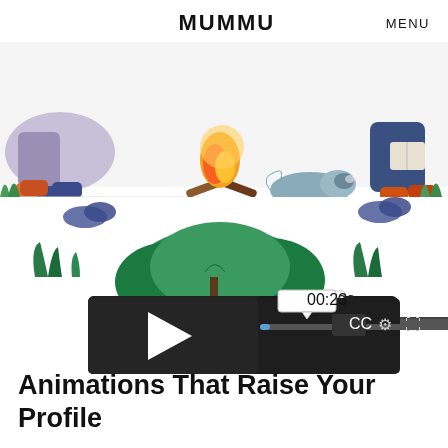MUMMU   MENU
[Figure (illustration): Animated illustration showing cartoon characters sitting outdoors around a campfire with grass and a sleeping raccoon; video player controls overlay the bottom portion showing play button, timestamp 00:23, progress bar, CC button, settings gear, and fullscreen icon]
Animations That Raise Your Profile